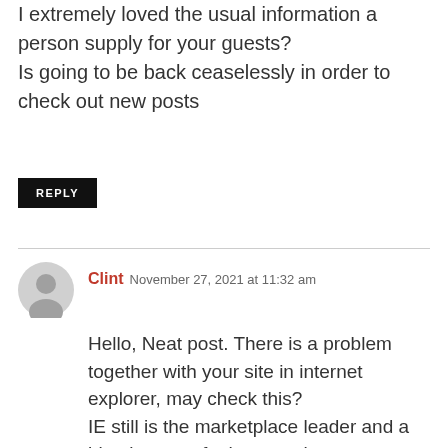I extremely loved the usual information a person supply for your guests? Is going to be back ceaselessly in order to check out new posts
REPLY
Clint  November 27, 2021 at 11:32 am
Hello, Neat post. There is a problem together with your site in internet explorer, may check this? IE still is the marketplace leader and a big element of other people will omit your great writing because of this problem.